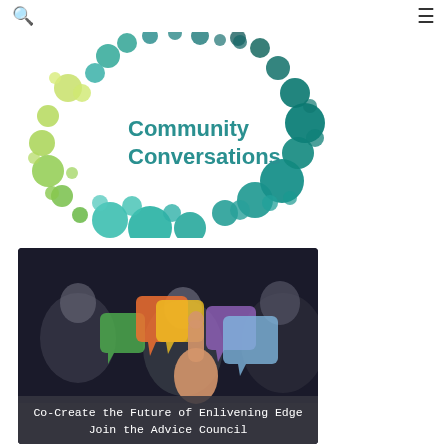🔍  ≡
[Figure (logo): Community Conversations logo: colorful circles arranged in a speech-bubble/heart shape, yellow-green on left fading to teal on right, with text 'Community Conversations' in teal in the center]
[Figure (photo): Photo of people at a meeting table with colorful speech bubble icons overlaid (orange, yellow, green, purple, blue), a hand pointing at them. Dark background with office/meeting room setting.]
Co-Create the Future of Enlivening Edge Join the Advice Council